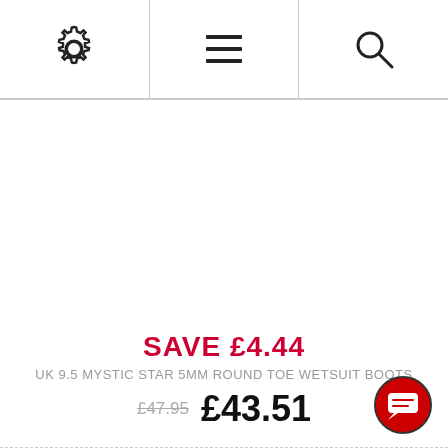[Figure (infographic): Header navigation bar with three icon cells: gear/settings icon, menu/hamburger lines icon, and search/magnifying glass icon, separated by vertical dividers]
SAVE £4.44
UK 9.5 MYSTIC STAR 5MM ROUND TOE WETSUIT BOOTS
£47.95  £43.51
[Figure (illustration): Red circular chat/message button in bottom-right corner with white speech bubble icon]